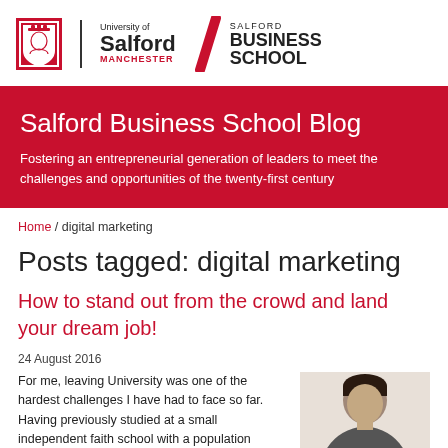University of Salford Manchester | Salford Business School
Salford Business School Blog
Fostering an entrepreneurial generation of leaders to meet the challenges and opportunities of the twenty-first century
Home / digital marketing
Posts tagged: digital marketing
How to stand out from the crowd and land your dream job!
24 August 2016
For me, leaving University was one of the hardest challenges I have had to face so far. Having previously studied at a small independent faith school with a population
[Figure (photo): Portrait photo of a young man, cropped from shoulders up, against a light background]